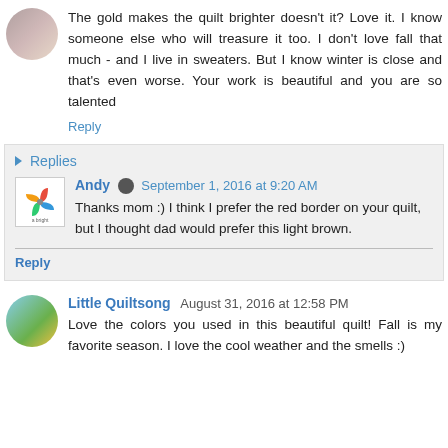The gold makes the quilt brighter doesn't it? Love it. I know someone else who will treasure it too. I don't love fall that much - and I live in sweaters. But I know winter is close and that's even worse. Your work is beautiful and you are so talented
Reply
▶ Replies
Andy  September 1, 2016 at 9:20 AM
Thanks mom :) I think I prefer the red border on your quilt, but I thought dad would prefer this light brown.
Reply
Little Quiltsong  August 31, 2016 at 12:58 PM
Love the colors you used in this beautiful quilt! Fall is my favorite season. I love the cool weather and the smells :)